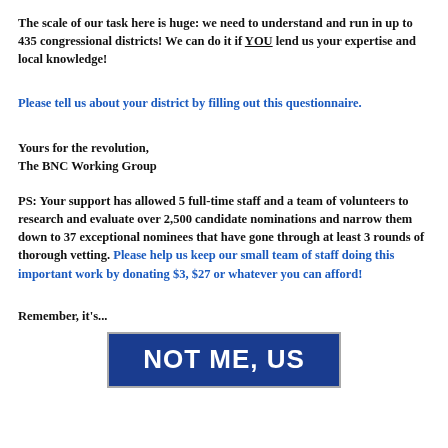The scale of our task here is huge: we need to understand and run in up to 435 congressional districts! We can do it if YOU lend us your expertise and local knowledge!
Please tell us about your district by filling out this questionnaire.
Yours for the revolution,
The BNC Working Group
PS: Your support has allowed 5 full-time staff and a team of volunteers to research and evaluate over 2,500 candidate nominations and narrow them down to 37 exceptional nominees that have gone through at least 3 rounds of thorough vetting. Please help us keep our small team of staff doing this important work by donating $3, $27 or whatever you can afford!
Remember, it's...
[Figure (illustration): Blue banner with white bold text reading NOT ME, US]